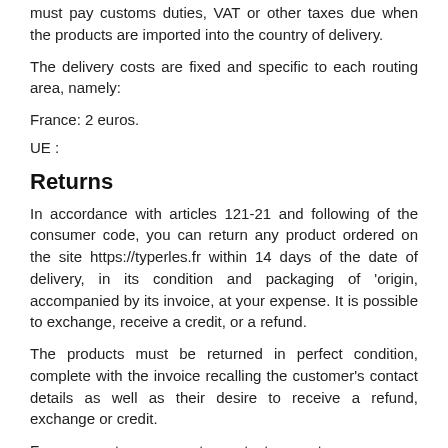must pay customs duties, VAT or other taxes due when the products are imported into the country of delivery.
The delivery costs are fixed and specific to each routing area, namely:
France: 2 euros.
UE :
Returns
In accordance with articles 121-21 and following of the consumer code, you can return any product ordered on the site https://typerles.fr within 14 days of the date of delivery, in its condition and packaging of 'origin, accompanied by its invoice, at your expense. It is possible to exchange, receive a credit, or a refund.
The products must be returned in perfect condition, complete with the invoice recalling the customer's contact details as well as their desire to receive a refund, exchange or credit.
For any return request, contact us at: